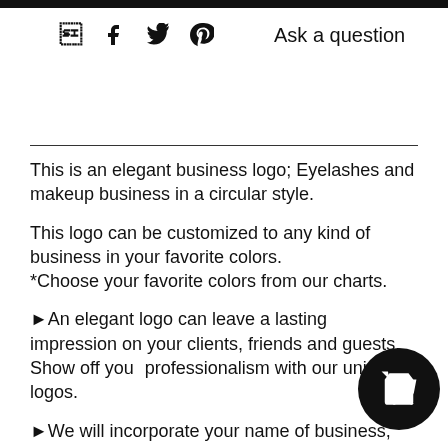[black top bar]
f  𝕏  ℗  Ask a question
This is an elegant business logo; Eyelashes and makeup business in a circular style.
This logo can be customized to any kind of business in your favorite colors.
*Choose your favorite colors from our charts.
►An elegant logo can leave a lasting impression on your clients, friends and guests. Show off your professionalism with our unique logos.
►We will incorporate your name of business, tagline, favorite color scheme and send you a